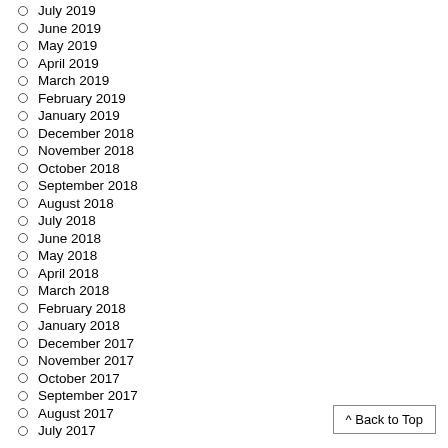July 2019
June 2019
May 2019
April 2019
March 2019
February 2019
January 2019
December 2018
November 2018
October 2018
September 2018
August 2018
July 2018
June 2018
May 2018
April 2018
March 2018
February 2018
January 2018
December 2017
November 2017
October 2017
September 2017
August 2017
July 2017
^ Back to Top